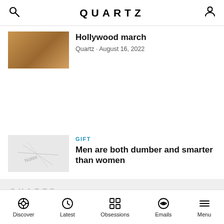QUARTZ
Hollywood march
Quartz · August 16, 2022
GIFT
Men are both dumber and smarter than women
[Figure (screenshot): Quartz paywall/promo overlay with faded logo and text: Doing well by doing good: The many values of authentic leadership]
Discover · Latest · Obsessions · Emails · Menu